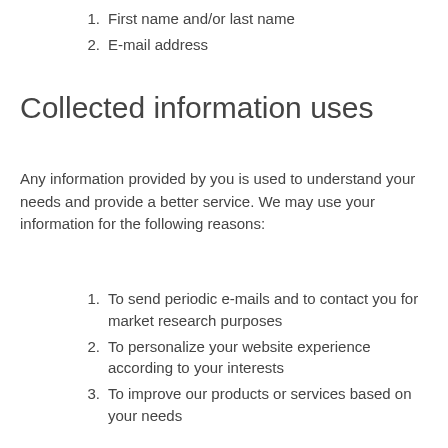1. First name and/or last name
2. E-mail address
Collected information uses
Any information provided by you is used to understand your needs and provide a better service. We may use your information for the following reasons:
1. To send periodic e-mails and to contact you for market research purposes
2. To personalize your website experience according to your interests
3. To improve our products or services based on your needs